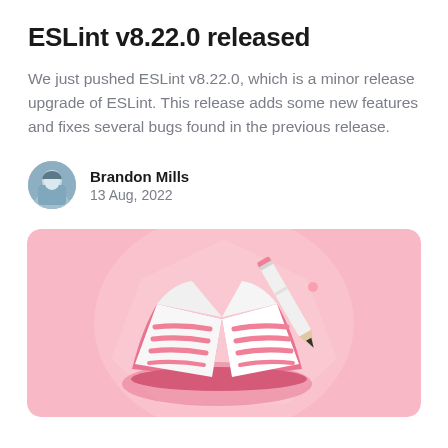ESLint v8.22.0 released
We just pushed ESLint v8.22.0, which is a minor release upgrade of ESLint. This release adds some new features and fixes several bugs found in the previous release.
Brandon Mills
13 Aug, 2022
[Figure (illustration): 3D illustration of an open book with pink bookmark-style text lines and a pencil resting on it, on a pink rounded square background]